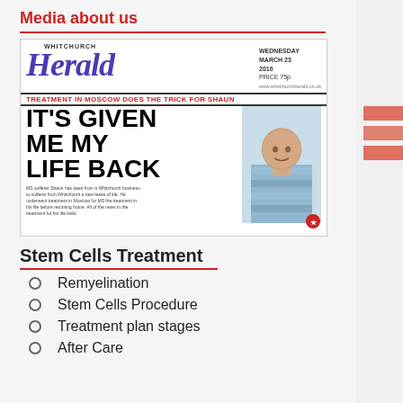Media about us
[Figure (photo): Whitchurch Herald newspaper front page dated Wednesday March 23, 2016, price 75p. Headline reads: TREATMENT IN MOSCOW DOES THE TRICK FOR SHAUN — IT'S GIVEN ME MY LIFE BACK. Features a photo of a man in a striped shirt.]
Stem Cells Treatment
Remyelination
Stem Cells Procedure
Treatment plan stages
After Care